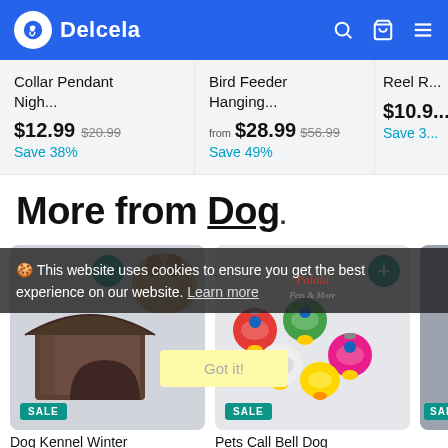Delcela
Collar Pendant Nigh... $12.99 $20.99 Save 38%
Bird Feeder Hanging... from $28.99 $56.99 Save 49%
Reel R... $10.9... Save 3...
More from Dog
[Figure (photo): Dog Kennel Winter product card with SALE badge]
[Figure (photo): Pets Call Bell Dog product card with SALE badge]
[Figure (photo): Partial third product card with SALE badge]
🍪 This website uses cookies to ensure you get the best experience on our website. Learn more
Got it!
Dog Kennel Winter
Pets Call Bell Dog